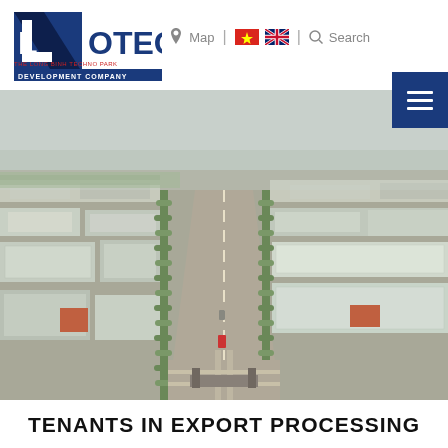[Figure (logo): LOTECO - The Long Binh Techno Park Development Company logo with blue and navy diagonal design]
Map | [Vietnamese flag] [UK flag] | Search
[Figure (photo): Aerial drone photograph of Long Binh Techno Park industrial zone showing wide straight road flanked by factory buildings and warehouses on both sides, trees lining the road, hazy sky]
TENANTS IN EXPORT PROCESSING